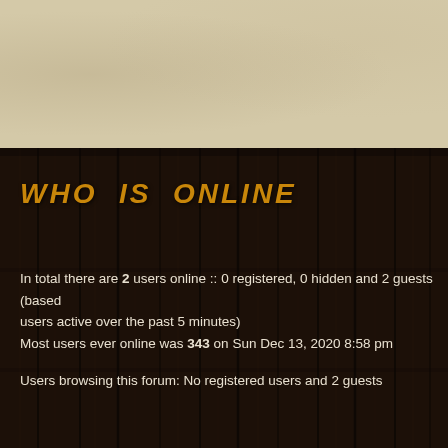WHO IS ONLINE
In total there are 2 users online :: 0 registered, 0 hidden and 2 guests (based on users active over the past 5 minutes)
Most users ever online was 343 on Sun Dec 13, 2020 8:58 pm
Users browsing this forum: No registered users and 2 guests